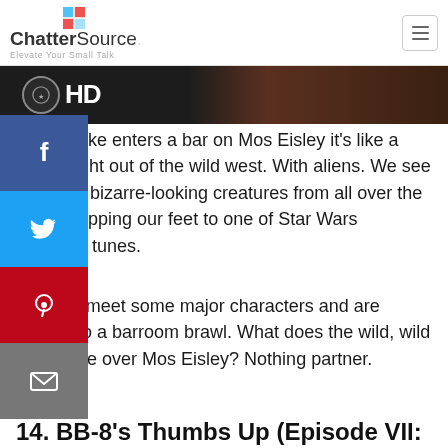ChatterSource — Elevate Your Small Talk
[Figure (screenshot): Video thumbnail showing HD badge logo on dark background]
When Luke enters a bar on Mos Eisley it's like a scene right out of the wild west. With aliens. We see a host of bizarre-looking creatures from all over the galaxy tapping our feet to one of Star Wars catchiest tunes.
We also meet some major characters and are treated to a barroom brawl. What does the wild, wild west have over Mos Eisley? Nothing partner.
14. BB-8's Thumbs Up (Episode VII: